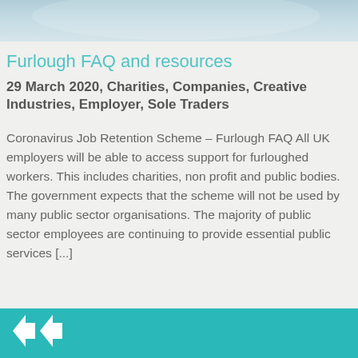[Figure (photo): Partial photo bar at top of page, showing blurred light blue/grey tones]
Furlough FAQ and resources
29 March 2020, Charities, Companies, Creative Industries, Employer, Sole Traders
Coronavirus Job Retention Scheme – Furlough FAQ All UK employers will be able to access support for furloughed workers.  This includes charities, non profit and public bodies.  The government expects that the scheme will not be used by many public sector organisations.  The majority of public sector employees are continuing to provide essential public services [...]
[Figure (logo): Partial white logo on teal background bar at bottom of page]